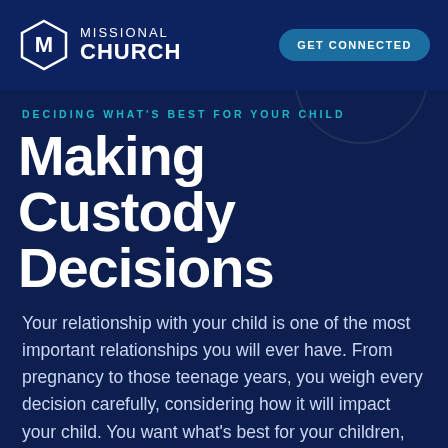MISSIONAL CHURCH | GET CONNECTED
DECIDING WHAT'S BEST FOR YOUR CHILD
Making Custody Decisions
Your relationship with your child is one of the most important relationships you will ever have. From pregnancy to those teenage years, you weigh every decision carefully, considering how it will impact your child. You want what's best for your children, but what happens when you don't see eye-to-eye with your co-parent? Maybe you're experiencing a difficult time, and